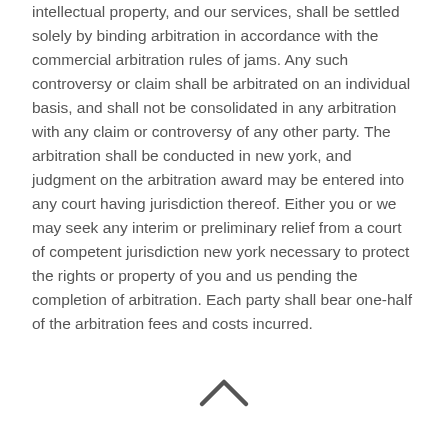intellectual property, and our services, shall be settled solely by binding arbitration in accordance with the commercial arbitration rules of jams. Any such controversy or claim shall be arbitrated on an individual basis, and shall not be consolidated in any arbitration with any claim or controversy of any other party. The arbitration shall be conducted in new york, and judgment on the arbitration award may be entered into any court having jurisdiction thereof. Either you or we may seek any interim or preliminary relief from a court of competent jurisdiction new york necessary to protect the rights or property of you and us pending the completion of arbitration. Each party shall bear one-half of the arbitration fees and costs incurred.
[Figure (other): An upward-pointing chevron/caret symbol centered near the bottom of the page]